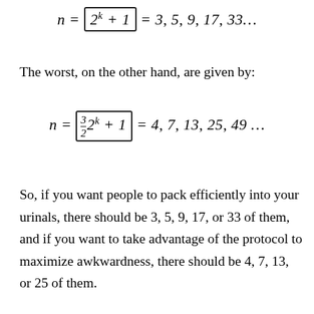The worst, on the other hand, are given by:
So, if you want people to pack efficiently into your urinals, there should be 3, 5, 9, 17, or 33 of them, and if you want to take advantage of the protocol to maximize awkwardness, there should be 4, 7, 13, or 25 of them.